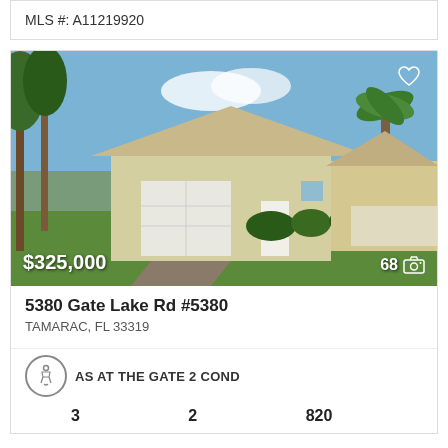MLS #: A11219920
[Figure (photo): Exterior photo of a single-story residential home with garage, palm trees, and landscaping. Price overlay: $325,000. Photo count: 68.]
5380 Gate Lake Rd #5380
TAMARAC, FL 33319
AS AT THE GATE 2 COND
3   2   820